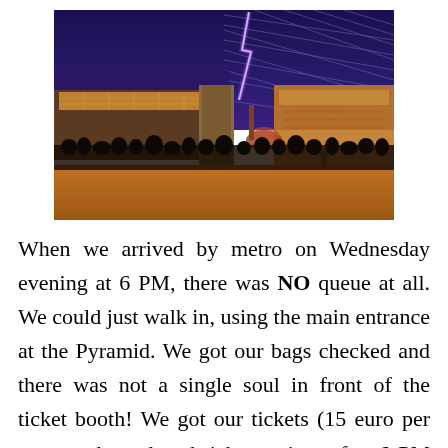[Figure (photo): Interior of the Louvre Museum under the glass pyramid. The photo shows the grand hall below the pyramid with crowds of visitors on the floor level, warm amber lighting from the ceiling, a spiral staircase visible in the center-right, and a dramatic lightning bolt visible through the glass pyramid above. The upper portion shows the geometric glass-and-steel pyramid structure against a dusky blue sky.]
When we arrived by metro on Wednesday evening at 6 PM, there was NO queue at all. We could just walk in, using the main entrance at the Pyramid. We got our bags checked and there was not a single soul in front of the ticket booth! We got our tickets (15 euro per person, the reduced tickets prices after 6 PM on nocturnes have been